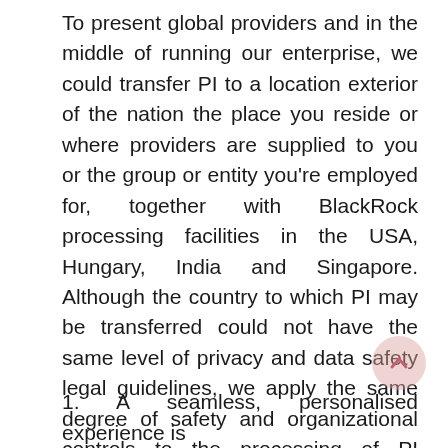To present global providers and in the middle of running our enterprise, we could transfer PI to a location exterior of the nation the place you reside or where providers are supplied to you or the group or entity you're employed for, together with BlackRock processing facilities in the USA, Hungary, India and Singapore. Although the country to which PI may be transferred could not have the same level of privacy and data safety legal guidelines, we apply the same degree of safety and organizational controls to the processing of PI wherever it is processed.
1. A seamless, personalised experience is